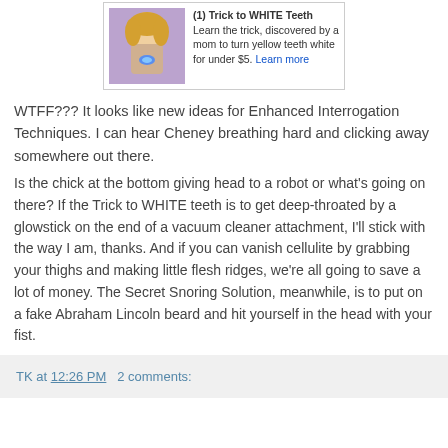[Figure (screenshot): Advertisement image showing a woman with a teeth whitening device, glowing blue light in mouth]
(1) Trick to WHITE Teeth Learn the trick, discovered by a mom to turn yellow teeth white for under $5. Learn more
WTFF??? It looks like new ideas for Enhanced Interrogation Techniques. I can hear Cheney breathing hard and clicking away somewhere out there.
Is the chick at the bottom giving head to a robot or what's going on there? If the Trick to WHITE teeth is to get deep-throated by a glowstick on the end of a vacuum cleaner attachment, I'll stick with the way I am, thanks. And if you can vanish cellulite by grabbing your thighs and making little flesh ridges, we're all going to save a lot of money. The Secret Snoring Solution, meanwhile, is to put on a fake Abraham Lincoln beard and hit yourself in the head with your fist.
TK at 12:26 PM  2 comments: